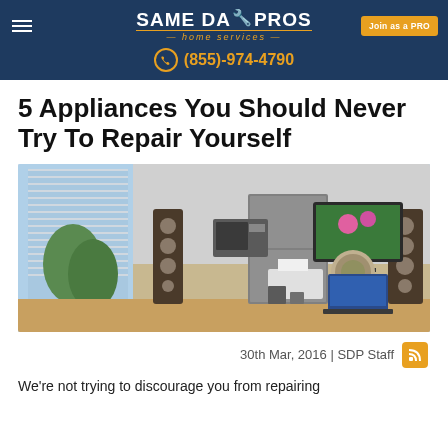SAME DAY PROS home services | (855)-974-4790 | Join as a PRO
5 Appliances You Should Never Try To Repair Yourself
[Figure (photo): A stylized room with various home appliances including speakers, a microwave, refrigerator, TV, printer, laptop and other electronics arranged together]
30th Mar, 2016 | SDP Staff
We're not trying to discourage you from repairing